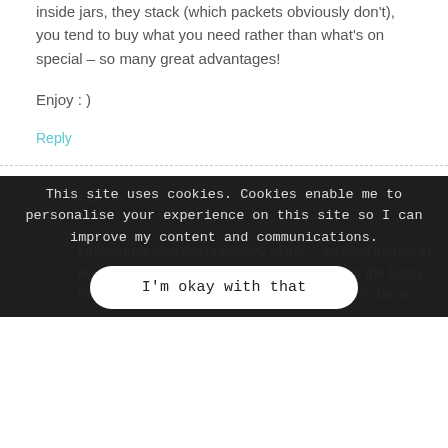inside jars, they stack (which packets obviously don’t), you tend to buy what you need rather than what’s on special – so many great advantages!
Enjoy : )
Reply
sarohn
June 30, 21 at 6:45 pm
I absolutely love the uniformity of the ... es (and there’s at least three I’ve seen lately in Sydney too). But the funny thing is, with things like corn chips, they need to be in
This site uses cookies. Cookies enable me to personalise your experience on this site so I can improve my content and communications.
I’m okay with that